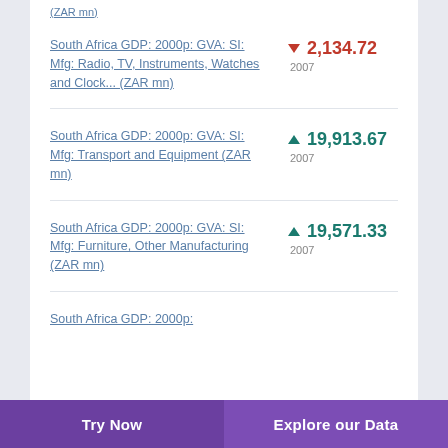(ZAR mn)
South Africa GDP: 2000p: GVA: SI: Mfg: Radio, TV, Instruments, Watches and Clock... (ZAR mn)
South Africa GDP: 2000p: GVA: SI: Mfg: Transport and Equipment (ZAR mn)
South Africa GDP: 2000p: GVA: SI: Mfg: Furniture, Other Manufacturing (ZAR mn)
South Africa GDP: 2000p...
Try Now   Explore our Data